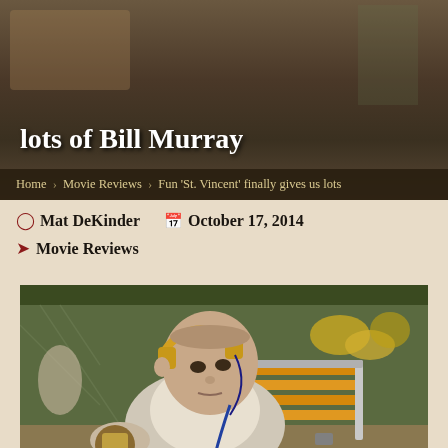lots of Bill Murray
Home > Movie Reviews > Fun 'St. Vincent' finally gives us lots
Mat DeKinder   October 17, 2014
Movie Reviews
[Figure (photo): Bill Murray as St. Vincent, sitting in a lawn chair outdoors wearing yellow headphones and a white sleeveless shirt, holding a drink. Chain-link fence and garden visible in background.]
Courtesy The Weinstein Company